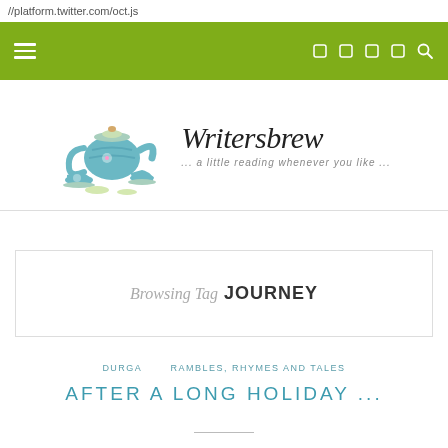//platform.twitter.com/oct.js
[Figure (screenshot): Olive/green navigation bar with hamburger menu icon on left and social media icons and search icon on right]
[Figure (logo): Writersbrew logo with teal tea set illustration and cursive text 'Writersbrew ... a little reading whenever you like ...']
Browsing Tag JOURNEY
DURGA   RAMBLES, RHYMES AND TALES
AFTER A LONG HOLIDAY ...